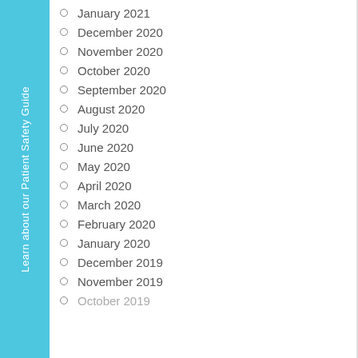Learn about our Patient Safety Guide
January 2021
December 2020
November 2020
October 2020
September 2020
August 2020
July 2020
June 2020
May 2020
April 2020
March 2020
February 2020
January 2020
December 2019
November 2019
October 2019